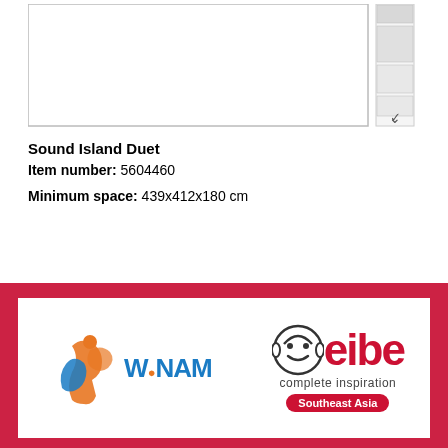[Figure (screenshot): Product image viewer with scrollbar on the right side, showing a white empty preview area with border]
Sound Island Duet
Item number: 5604460
Minimum space: 439x412x180 cm
[Figure (logo): Footer with red background containing two logos: WINAM logo on the left and eibe complete inspiration Southeast Asia logo on the right]